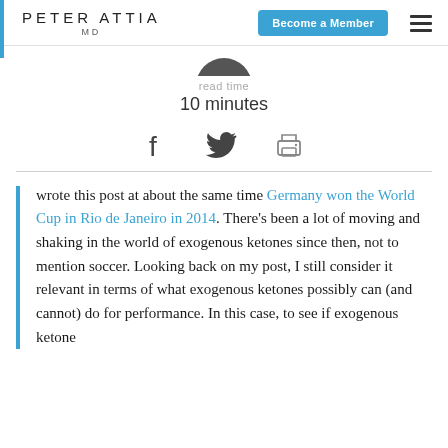PETER ATTIA MD | Become a Member
[Figure (photo): Partial circular avatar image at top center]
read time
10 minutes
[Figure (infographic): Social share icons: Facebook, Twitter, Print]
I wrote this post at about the same time Germany won the World Cup in Rio de Janeiro in 2014. There's been a lot of moving and shaking in the world of exogenous ketones since then, not to mention soccer. Looking back on my post, I still consider it relevant in terms of what exogenous ketones possibly can (and cannot) do for performance. In this case, to see if exogenous ketone